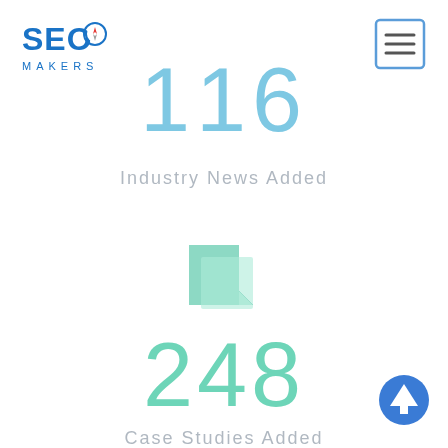[Figure (logo): SEO Makers logo with compass icon, blue text]
[Figure (other): Hamburger menu icon, square with three horizontal lines, blue border]
116
Industry News Added
[Figure (illustration): Mint/teal colored document/page icon with folded corner]
248
Case Studies Added
[Figure (other): Blue upward arrow button in bottom right corner]